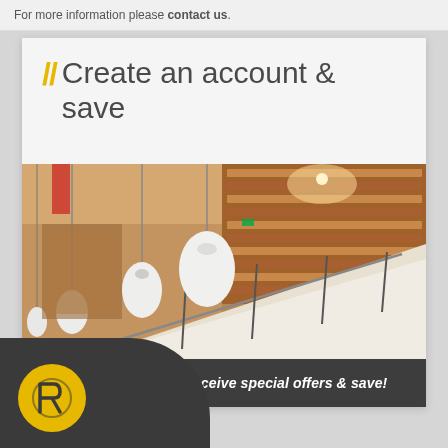For more information please contact us.
Create an account & save
[Figure (photo): Interior of a modern building showing pendant white lamps hanging from ceiling and a wooden slatted wall with glass railing staircase]
Create an account to receive special offers & save!
[Figure (logo): Circular yellow logo with stylized R letter on a dark background]